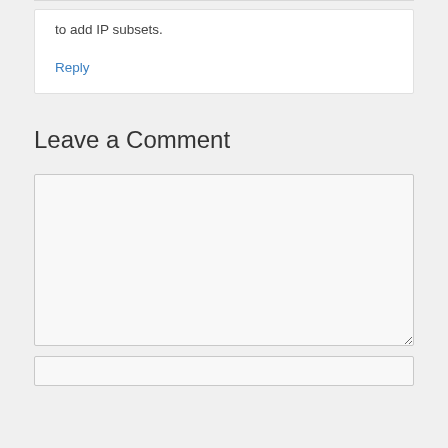to add IP subsets.
Reply
Leave a Comment
[Figure (other): Empty comment textarea input box]
[Figure (other): Short text input field at bottom]